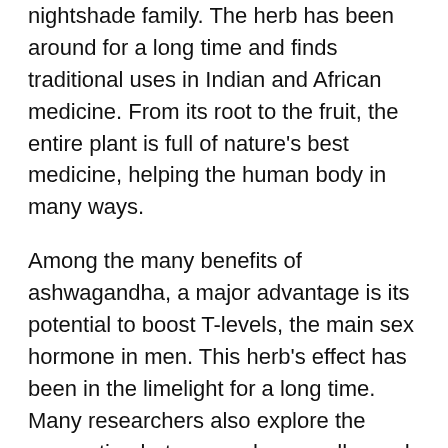nightshade family. The herb has been around for a long time and finds traditional uses in Indian and African medicine. From its root to the fruit, the entire plant is full of nature's best medicine, helping the human body in many ways.
Among the many benefits of ashwagandha, a major advantage is its potential to boost T-levels, the main sex hormone in men. This herb's effect has been in the limelight for a long time. Many researchers also explore the connection between ashwagandha and testosterone.
As you grow older, T-levels naturally go down. The result can be physically and mentally draining, and it may invite a host of diseases. Some common issues due to low testosterone are type 2 diabetes, fatigue, and digestive disorders. Hence, many people turn to natural supplements and lifestyle changes to maintain a healthy T-level. Yet, the question at hand is, do these supplements work?